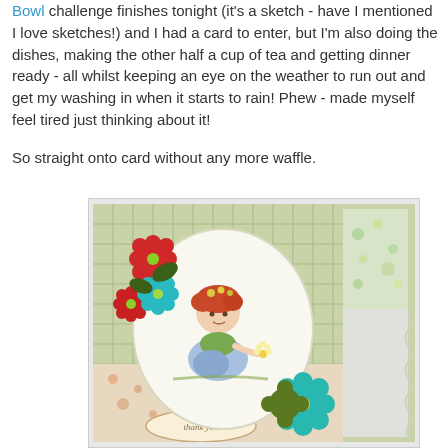Bowl challenge finishes tonight (it's a sketch - have I mentioned I love sketches!)  and I had a card to enter, but I'm also doing the dishes, making the other half a cup of tea and getting dinner ready - all whilst keeping an eye on the weather to run out and get my washing in when it starts to rain!  Phew - made myself feel tired just thinking about it!

So straight onto card without any more waffle.
[Figure (photo): A handmade greeting card with green plaid and polka dot patterned paper, featuring a circular die-cut with an illustration of a small child with red hair holding a daisy. Decorative flowers in red, teal, and dark green are arranged around the circle. A 'thank you' oval label is at the bottom of the card. The card is photographed at a slight angle against a white background.]